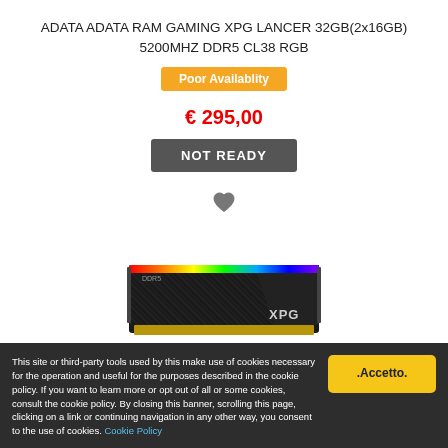ADATA ADATA RAM GAMING XPG LANCER 32GB(2x16GB) 5200MHZ DDR5 CL38 RGB
Poor Availablity
€ 295,00
NOT READY
[Figure (photo): ADATA XPG Lancer DDR5 RGB RAM stick with black heatspreader and rainbow RGB lighting strip along the top, XPG branding visible]
This site or third-party tools used by this make use of cookies necessary for the operation and useful for the purposes described in the cookie policy. If you want to learn more or opt out of all or some cookies, consult the cookie policy. By closing this banner, scrolling this page, clicking on a link or continuing navigation in any other way, you consent to the use of cookies. Cookie Policy